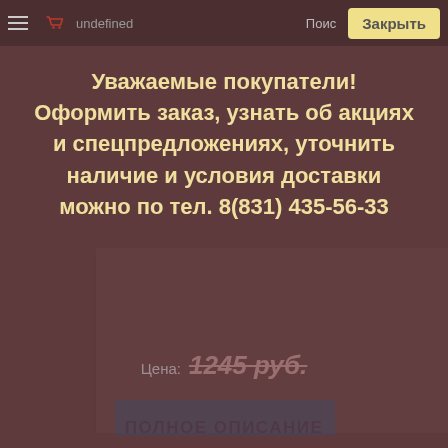[Figure (screenshot): Mobile e-commerce website screenshot showing a popup modal overlay on a product page. The top navigation bar has a hamburger menu, basket icon, 'undefined' text, search icon, and a yellow 'Закрыть' (Close) button. A dark brownish-red modal overlay covers most of the page displaying bold text in Russian addressing customers about ordering, promotions, availability, and delivery contact information. Behind the modal, a product price '1245 руб.' is partially visible. Below the modal is a white product card and a light gray textured background.]
undefined  Поиск  Закрыть
Уважаемые покупатели! Оформить заказ, узнать об акциях и спецпредложениях, уточнить наличие и условия доставки можно по тел. 8(831) 435-56-33
Цена:  1245 руб.
ПОЛНОЕ ОПИСАНИЕ